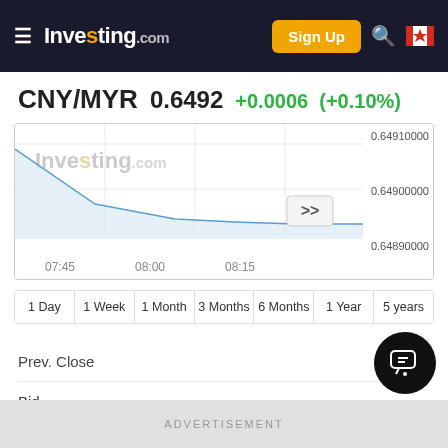Investing.com  Sign Up
CNY/MYR  0.6492  +0.0006  (+0.10%)
[Figure (line-chart): CNY/MYR intraday chart]
1 Day  1 Week  1 Month  3 Months  6 Months  1 Year  5 years
Prev. Close
486
Bid
ADVERTISEMENT